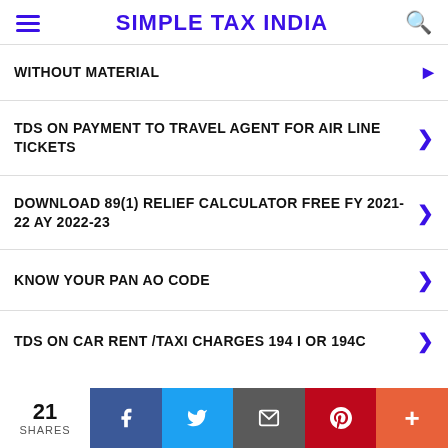SIMPLE TAX INDIA
WITHOUT MATERIAL
TDS ON PAYMENT TO TRAVEL AGENT FOR AIR LINE TICKETS
DOWNLOAD 89(1) RELIEF CALCULATOR FREE FY 2021-22 AY 2022-23
KNOW YOUR PAN AO CODE
TDS ON CAR RENT /TAXI CHARGES 194 I OR 194C
21 SHARES | Facebook | Twitter | Email | Pinterest | More